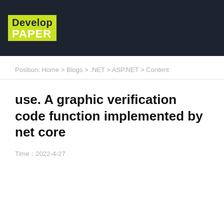[Figure (logo): DevelopPaper logo: green rectangle with 'Develop' in dark text and 'PAPER' in white text, on dark navy header bar]
Position: Home > Blogs > .NET > ASP.NET > Content
use. A graphic verification code function implemented by net core
Time：2022-4-27